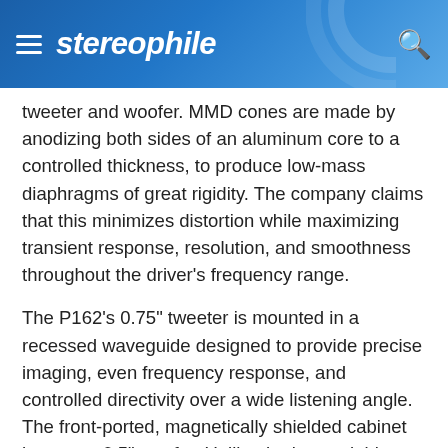stereophile
tweeter and woofer. MMD cones are made by anodizing both sides of an aluminum core to a controlled thickness, to produce low-mass diaphragms of great rigidity. The company claims that this minimizes distortion while maximizing transient response, resolution, and smoothness throughout the driver's frequency range.
The P162's 0.75" tweeter is mounted in a recessed waveguide designed to provide precise imaging, even frequency response, and controlled directivity over a wide listening angle. The front-ported, magnetically shielded cabinet houses a 6.5" woofer. Unlike the boxy, plebian-looking enclosures of the older Primus series, the new models feature a more